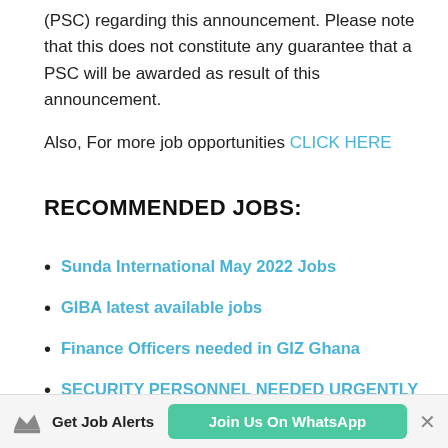(PSC) regarding this announcement. Please note that this does not constitute any guarantee that a PSC will be awarded as result of this announcement.
Also, For more job opportunities CLICK HERE
RECOMMENDED JOBS:
Sunda International May 2022 Jobs
GIBA latest available jobs
Finance Officers needed in GIZ Ghana
SECURITY PERSONNEL NEEDED URGENTLY FOR EMPLOYMENT
DRIVERS NEEDED URGENTLY FOR EMPLOYMENT
Get Job Alerts  Join Us On WhatsApp  ×